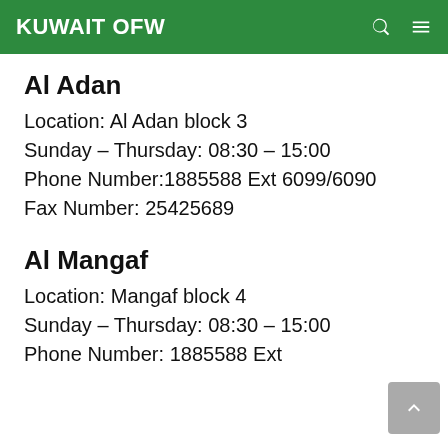KUWAIT OFW
Al Adan
Location: Al Adan block 3
Sunday – Thursday: 08:30 – 15:00
Phone Number:1885588 Ext 6099/6090
Fax Number: 25425689
Al Mangaf
Location: Mangaf block 4
Sunday – Thursday: 08:30 – 15:00
Phone Number: 1885588 Ext